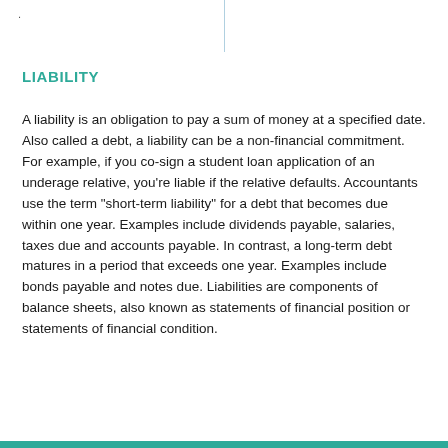LIABILITY
A liability is an obligation to pay a sum of money at a specified date. Also called a debt, a liability can be a non-financial commitment. For example, if you co-sign a student loan application of an underage relative, you're liable if the relative defaults. Accountants use the term "short-term liability" for a debt that becomes due within one year. Examples include dividends payable, salaries, taxes due and accounts payable. In contrast, a long-term debt matures in a period that exceeds one year. Examples include bonds payable and notes due. Liabilities are components of balance sheets, also known as statements of financial position or statements of financial condition.